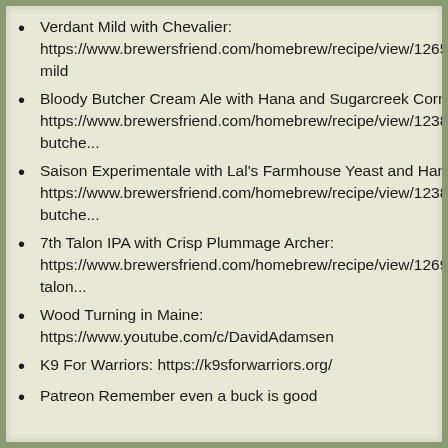Verdant Mild with Chevalier: https://www.brewersfriend.com/homebrew/recipe/view/1265878/verdant-mild
Bloody Butcher Cream Ale with Hana and Sugarcreek Corn Malt: https://www.brewersfriend.com/homebrew/recipe/view/1238349/bloody-butche...
Saison Experimentale with Lal's Farmhouse Yeast and Hana: https://www.brewersfriend.com/homebrew/recipe/view/1238349/bloody-butche...
7th Talon IPA with Crisp Plummage Archer: https://www.brewersfriend.com/homebrew/recipe/view/1269021/seventh-talon...
Wood Turning in Maine: https://www.youtube.com/c/DavidAdamsen
K9 For Warriors: https://k9sforwarriors.org/
Patreon Remember even a buck is good